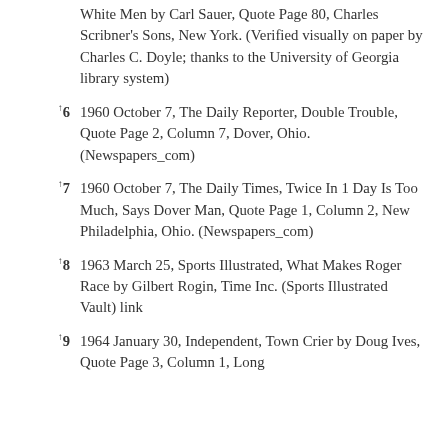White Men by Carl Sauer, Quote Page 80, Charles Scribner's Sons, New York. (Verified visually on paper by Charles C. Doyle; thanks to the University of Georgia library system)
↑6  1960 October 7, The Daily Reporter, Double Trouble, Quote Page 2, Column 7, Dover, Ohio. (Newspapers_com)
↑7  1960 October 7, The Daily Times, Twice In 1 Day Is Too Much, Says Dover Man, Quote Page 1, Column 2, New Philadelphia, Ohio. (Newspapers_com)
↑8  1963 March 25, Sports Illustrated, What Makes Roger Race by Gilbert Rogin, Time Inc. (Sports Illustrated Vault) link
↑9  1964 January 30, Independent, Town Crier by Doug Ives, Quote Page 3, Column 1, Long